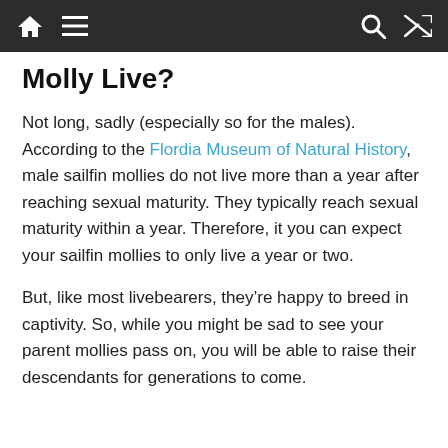[navigation bar with home, menu, search, shuffle icons]
Molly Live?
Not long, sadly (especially so for the males). According to the Flordia Museum of Natural History, male sailfin mollies do not live more than a year after reaching sexual maturity. They typically reach sexual maturity within a year. Therefore, it you can expect your sailfin mollies to only live a year or two.
But, like most livebearers, they’re happy to breed in captivity. So, while you might be sad to see your parent mollies pass on, you will be able to raise their descendants for generations to come.